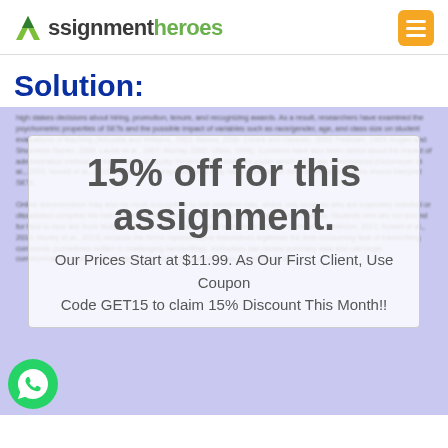[Figure (logo): AssignmentHeroes logo with green arrow/A icon and orange hamburger menu button]
Solution:
high stakes decisions about hiring, promotion, tenure, and recognizing awards. As a result, researchers have examined the psychometric properties of SETs and the possible impact of variables such as race/gender, age, and class size on student evaluations of teaching (Arbuckle and Williams, 2003; Basow, 2000; Centra and Gaubatz, 2000; Feldman, 1993; Kogan and Shoenfeld-Tacher, 2009; Laube et al., 2007; Murray, 2005; Ufkes, 1996). Concerns have also been raised about the impact of administration method on the efficacy of faculty, because the conditions under which SETs are administered (Dommeyer et al., 2003; Nowell et al., 2010) because low response rates may have implications for how decision makers should interpret SETs.
[Figure (infographic): Promotional overlay: 15% off for this assignment. Our Prices Start at $11.99. As Our First Client, Use Coupon Code GET15 to claim 15% Discount This Month!!]
Online administration may also be more susceptible to self-selection bias, where only students who are especially satisfied or dissatisfied complete the instrument. On-line forms do not interrupt the integrity of the process. Students who are not around for face-to-face are more likely to reflect on their answers and write more detailed comments (Peterson, 2011; Nowell et al., 2010; Morley et al., 2013) because the forms representative themselves legitimize the time-consuming task of transcribing comments (sometimes written in challenging handwriting). Instructors can review summary data and can begin communication shortly after in place of the forms instead of weeks or months as the